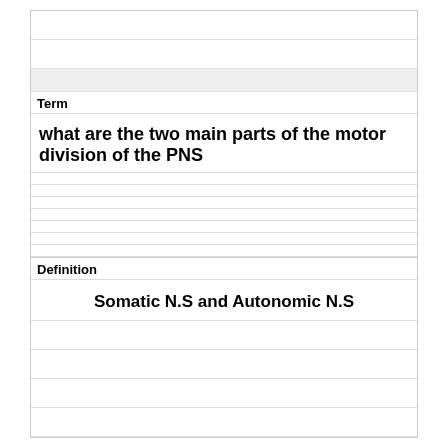Term
what are the two main parts of the motor division of the PNS
Definition
Somatic N.S and Autonomic N.S